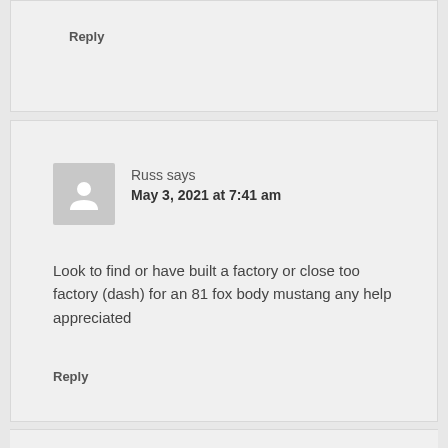Reply
Russ says
May 3, 2021 at 7:41 am
Look to find or have built a factory or close too factory (dash) for an 81 fox body mustang any help appreciated
Reply